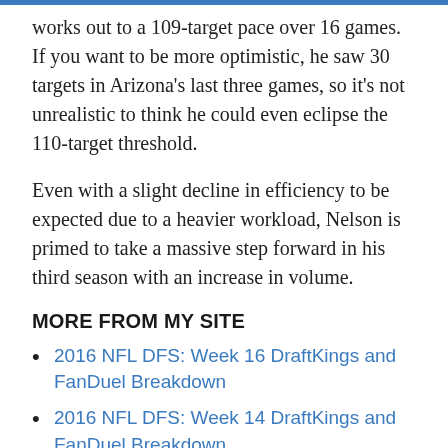works out to a 109-target pace over 16 games. If you want to be more optimistic, he saw 30 targets in Arizona's last three games, so it's not unrealistic to think he could even eclipse the 110-target threshold.
Even with a slight decline in efficiency to be expected due to a heavier workload, Nelson is primed to take a massive step forward in his third season with an increase in volume.
MORE FROM MY SITE
2016 NFL DFS: Week 16 DraftKings and FanDuel Breakdown
2016 NFL DFS: Week 14 DraftKings and FanDuel Breakdown
2016 NFL DFS: Week 11 DraftKings and FanDuel Breakdown
2016 NFL DFS: Week 7 DraftKings and FanDuel Breakdown